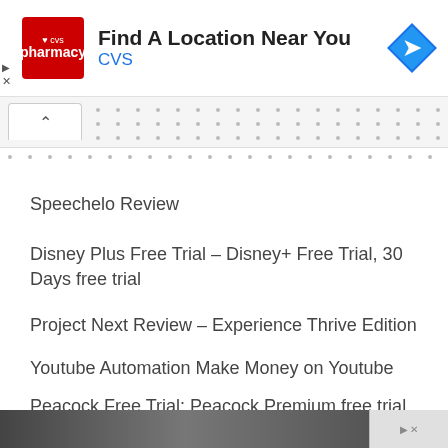[Figure (other): CVS Pharmacy advertisement banner with CVS logo, text 'Find A Location Near You' and 'CVS', and a blue navigation arrow diamond icon]
Speechelo Review
Disney Plus Free Trial – Disney+ Free Trial, 30 Days free trial
Project Next Review – Experience Thrive Edition
Youtube Automation Make Money on Youtube
Peacock Free Trial: Peacock Premium free trial Stream Now
[Figure (photo): Partial photo visible at the bottom of the page]